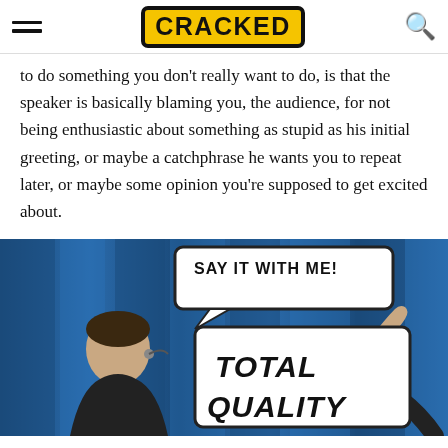CRACKED
to do something you don't really want to do, is that the speaker is basically blaming you, the audience, for not being enthusiastic about something as stupid as his initial greeting, or maybe a catchphrase he wants you to repeat later, or maybe some opinion you're supposed to get excited about.
[Figure (photo): A person on stage with a headset microphone in front of blue curtains, with comic-book style speech bubbles overlaid reading 'SAY IT WITH ME!' and 'TOTAL QUALITY']